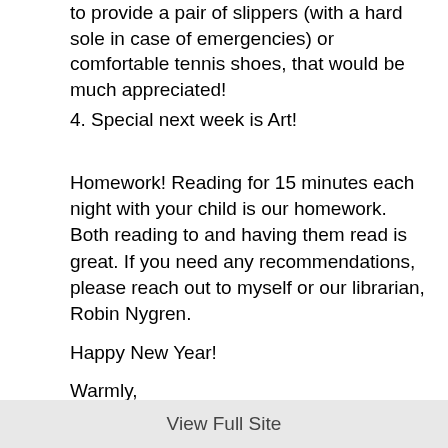to provide a pair of slippers (with a hard sole in case of emergencies) or comfortable tennis shoes, that would be much appreciated!
4. Special next week is Art!
Homework! Reading for 15 minutes each night with your child is our homework. Both reading to and having them read is great. If you need any recommendations, please reach out to myself or our librarian, Robin Nygren.
Happy New Year!
Warmly,
View Full Site